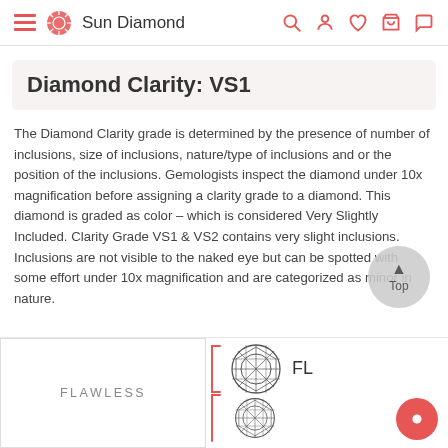Sun Diamond
Diamond Clarity: VS1
The Diamond Clarity grade is determined by the presence of number of inclusions, size of inclusions, nature/type of inclusions and or the position of the inclusions. Gemologists inspect the diamond under 10x magnification before assigning a clarity grade to a diamond. This diamond is graded as color – which is considered Very Slightly Included. Clarity Grade VS1 & VS2 contains very slight inclusions. Inclusions are not visible to the naked eye but can be spotted with some effort under 10x magnification and are categorized as minor in nature.
[Figure (illustration): Clarity grade chart showing FLAWLESS box on the left, and diamond diagrams with grade labels FL and another grade on the right]
FLAWLESS
FL